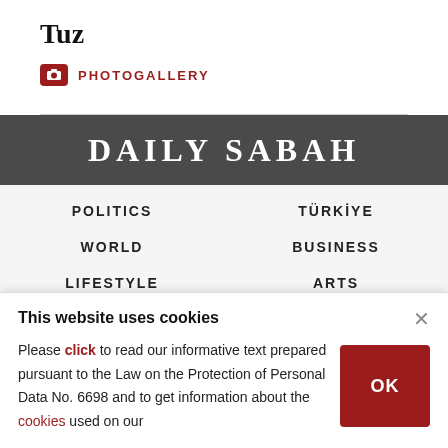Tuz
PHOTOGALLERY
DAILY SABAH
POLITICS
TÜRKİYE
WORLD
BUSINESS
LIFESTYLE
ARTS
This website uses cookies
Please click to read our informative text prepared pursuant to the Law on the Protection of Personal Data No. 6698 and to get information about the cookies used on our